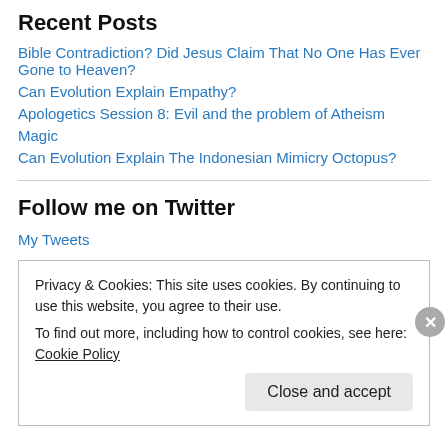Recent Posts
Bible Contradiction? Did Jesus Claim That No One Has Ever Gone to Heaven?
Can Evolution Explain Empathy?
Apologetics Session 8: Evil and the problem of Atheism
Magic
Can Evolution Explain The Indonesian Mimicry Octopus?
Follow me on Twitter
My Tweets
Privacy & Cookies: This site uses cookies. By continuing to use this website, you agree to their use.
To find out more, including how to control cookies, see here: Cookie Policy
Close and accept